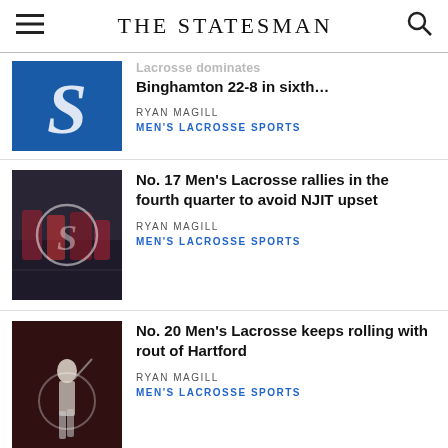The Statesman
[Figure (photo): Blue background with white S logo for The Statesman]
Binghamton 22-8 in sixth…
RYAN MAGILL
MEN'S LACROSSE SPORTS
[Figure (photo): Lacrosse players on field at night, with overlaid Statesman S logo watermark]
No. 17 Men's Lacrosse rallies in the fourth quarter to avoid NJIT upset
RYAN MAGILL
MEN'S LACROSSE SPORTS
[Figure (photo): Lacrosse player running with ball on red-lit field]
No. 20 Men's Lacrosse keeps rolling with rout of Hartford
RYAN MAGILL
MEN'S LACROSSE SPORTS